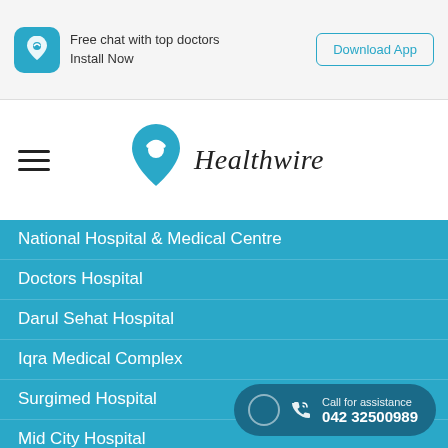[Figure (screenshot): Healthwire app banner with teal icon, 'Free chat with top doctors / Install Now' text and 'Download App' button]
[Figure (logo): Healthwire logo with teal heart/location-pin icon and italic 'Healthwire' text, plus hamburger menu icon]
National Hospital & Medical Centre
Doctors Hospital
Darul Sehat Hospital
Iqra Medical Complex
Surgimed Hospital
Mid City Hospital
Hill Park General Hospital (HPGH)
Medicare Cardiac & General Hospital
Fatima Memorial Hospital
Taj Consultants Clinics
Hilal-e-Ahmar Medical Hospital
Iqra Medical Complex (Ext.)
Ammar Medical Complex
Call for assistance
042 32500989